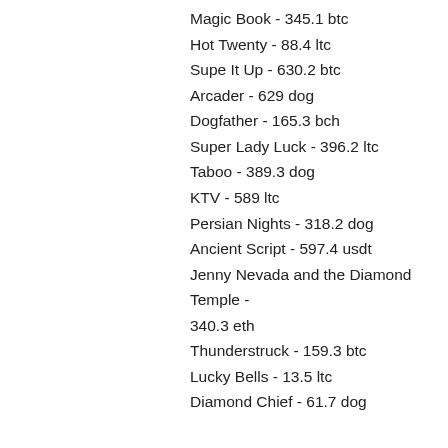Magic Book - 345.1 btc
Hot Twenty - 88.4 ltc
Supe It Up - 630.2 btc
Arcader - 629 dog
Dogfather - 165.3 bch
Super Lady Luck - 396.2 ltc
Taboo - 389.3 dog
KTV - 589 ltc
Persian Nights - 318.2 dog
Ancient Script - 597.4 usdt
Jenny Nevada and the Diamond Temple - 340.3 eth
Thunderstruck - 159.3 btc
Lucky Bells - 13.5 ltc
Diamond Chief - 61.7 dog
Play Bitcoin Slots and Casino Games Online:
BetChain Casino Arcade
Vegas Crest Casino Slot-o-Pol
Cloudbet Casino Pirate 2